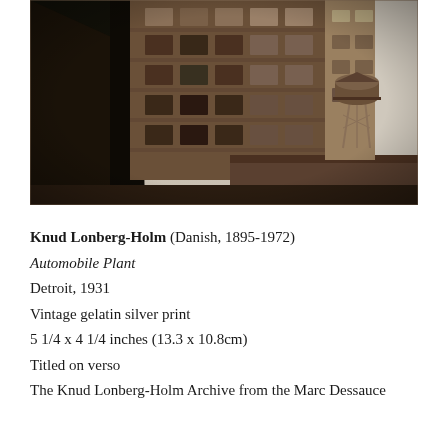[Figure (photo): Black and white (sepia-toned) vintage photograph of an automobile plant building in Detroit. The image shows a tall multi-story brick industrial building shot from a low angle, with large factory windows. A water tower is visible on the right side against a light sky. The composition emphasizes the monumental scale of the industrial architecture.]
Knud Lonberg-Holm (Danish, 1895-1972)
Automobile Plant
Detroit, 1931
Vintage gelatin silver print
5 1/4 x 4 1/4 inches (13.3 x 10.8cm)
Titled on verso
The Knud Lonberg-Holm Archive from the Marc Dessauce